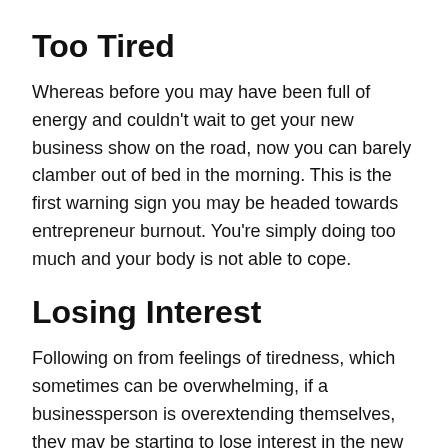Too Tired
Whereas before you may have been full of energy and couldn't wait to get your new business show on the road, now you can barely clamber out of bed in the morning. This is the first warning sign you may be headed towards entrepreneur burnout. You're simply doing too much and your body is not able to cope.
Losing Interest
Following on from feelings of tiredness, which sometimes can be overwhelming, if a businessperson is overextending themselves, they may be starting to lose interest in the new enterprise entirely. You may feel it's just not